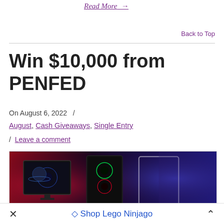Read More →
Back to Top
Win $10,000 from PENFED
On August 6, 2022 /
August, Cash Giveaways, Single Entry / Leave a comment
[Figure (photo): Gaming PC setup with RGB lighting against red and blue background, showing monitor, tower, keyboard, and speakers]
× Shop Lego Ninjago ∧